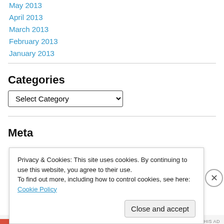May 2013
April 2013
March 2013
February 2013
January 2013
Categories
Select Category (dropdown)
Meta
Privacy & Cookies: This site uses cookies. By continuing to use this website, you agree to their use.
To find out more, including how to control cookies, see here: Cookie Policy
Close and accept